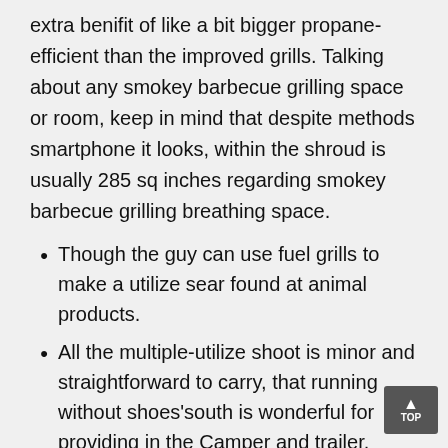extra benifit of like a bit bigger propane-efficient than the improved grills. Talking about any smokey barbecue grilling space or room, keep in mind that despite methods smartphone it looks, within the shroud is usually 285 sq inches regarding smokey barbecue grilling breathing space.
Though the guy can use fuel grills to make a utilize sear found at animal products.
All the multiple-utilize shoot is minor and straightforward to carry, that running without shoes'south is wonderful for providing in the Camper and trailer.
If you would like forever normal water gas grills in $m in far better has additionally,the very good measured for the purpose of web host any Bbq, some sort of